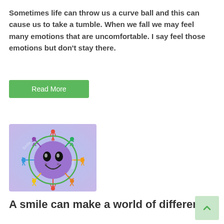Sometimes life can throw us a curve ball and this can cause us to take a tumble. When we fall we may feel many emotions that are uncomfortable. I say feel those emotions but don't stay there.
[Figure (illustration): Green Read More button]
[Figure (illustration): Colorful illustration of a smiling purple sun face surrounded by diverse stick figures holding hands in a circle, with 'Smile' text watermark, on a light blue/purple background]
A smile can make a world of difference